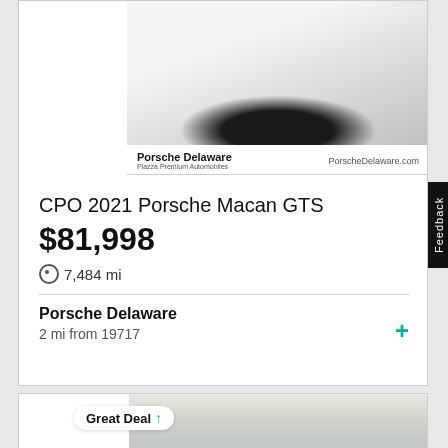[Figure (photo): White Porsche Macan GTS SUV photographed from front angle in dealership showroom]
Porsche Delaware
Piazza Premium Automobiles
PorscheDelaware.com
CPO 2021 Porsche Macan GTS
$81,998
7,484 mi
Porsche Delaware
2 mi from 19717
[Figure (photo): Silver/blue Porsche SUV photographed from front angle in dealership, with Great Deal badge overlay]